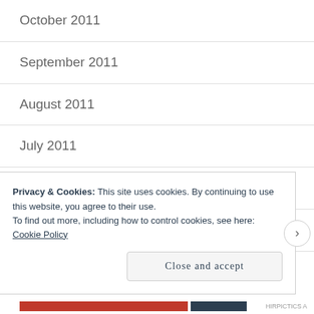October 2011
September 2011
August 2011
July 2011
June 2011
May 2011
April 2011
Privacy & Cookies: This site uses cookies. By continuing to use this website, you agree to their use.
To find out more, including how to control cookies, see here: Cookie Policy
Close and accept